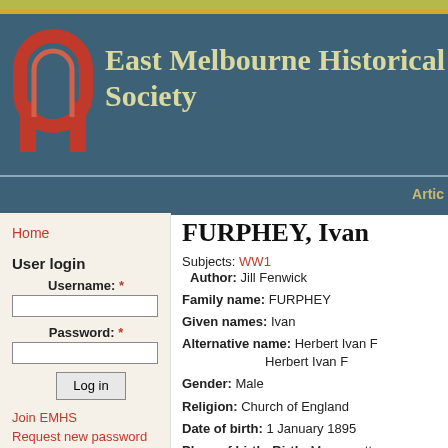East Melbourne Historical Society
Artic
Home
User login
Username: *
Password: *
Log in
Join EMHS
Request new password
FURPHEY, Ivan
Subjects: WW1
Author: Jill Fenwick
Family name: FURPHEY
Given names: Ivan
Alternative name: Herbert Ivan F Herbert Ivan F
Gender: Male
Religion: Church of England
Date of birth: 1 January 1895
Place of birth: Birth: Monegeetta,